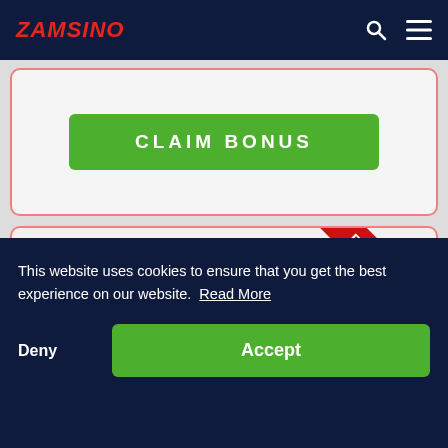ZAMSINO
[Figure (other): Green CLAIM BONUS button inside a card with red border]
[Figure (other): Casino offer card with EXCLUSIVE red ribbon banner and text '7$ Free Cash on Signup']
7$ Free Cash on Signup
This website uses cookies to ensure that you get the best experience on our website. Read More
Deny
Accept